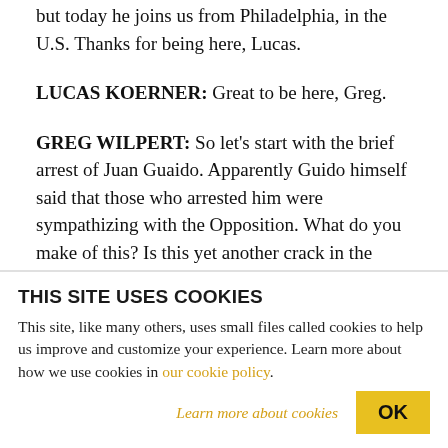but today he joins us from Philadelphia, in the U.S. Thanks for being here, Lucas.
LUCAS KOERNER: Great to be here, Greg.
GREG WILPERT: So let's start with the brief arrest of Juan Guaido. Apparently Guido himself said that those who arrested him were sympathizing with the Opposition. What do you make of this? Is this yet another crack in the loyalty of Venezuela's security forces, and could it represent deeper divisions in the
THIS SITE USES COOKIES
This site, like many others, uses small files called cookies to help us improve and customize your experience. Learn more about how we use cookies in our cookie policy.
Learn more about cookies
OK